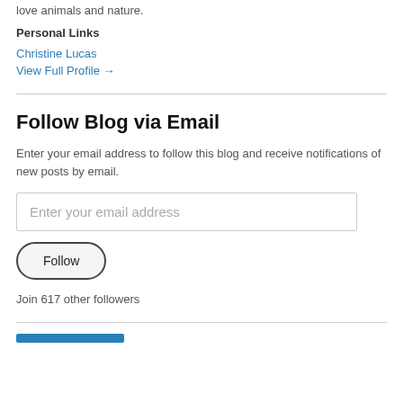I'm a dreamer. I read, write, draw, knit and listen to classical music. I love animals and nature.
Personal Links
Christine Lucas
View Full Profile →
Follow Blog via Email
Enter your email address to follow this blog and receive notifications of new posts by email.
Enter your email address
Follow
Join 617 other followers